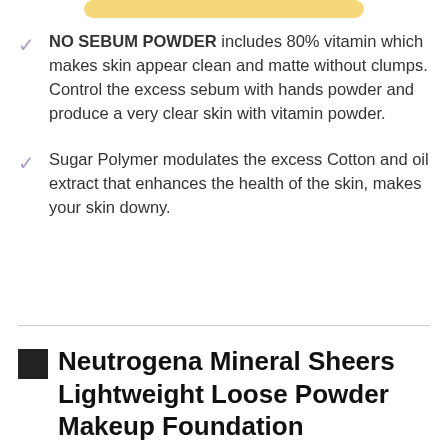[Figure (other): Yellow pill-shaped button bar at top of page]
NO SEBUM POWDER includes 80% vitamin which makes skin appear clean and matte without clumps. Control the excess sebum with hands powder and produce a very clear skin with vitamin powder.
Sugar Polymer modulates the excess Cotton and oil extract that enhances the health of the skin, makes your skin downy.
Neutrogena Mineral Sheers Lightweight Loose Powder Makeup Foundation